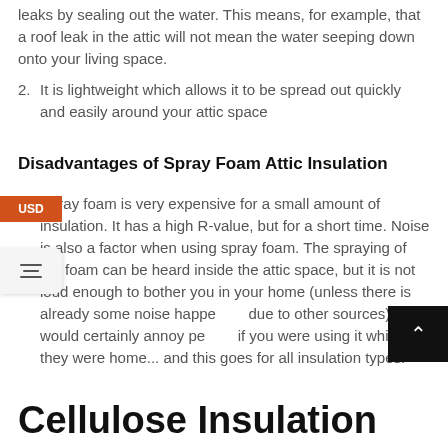leaks by sealing out the water. This means, for example, that a roof leak in the attic will not mean the water seeping down onto your living space.
It is lightweight which allows it to be spread out quickly and easily around your attic space
Disadvantages of Spray Foam Attic Insulation
Spray foam is very expensive for a small amount of insulation. It has a high R-value, but for a short time. Noise is also a factor when using spray foam. The spraying of the foam can be heard inside the attic space, but it is not loud enough to bother you in your home (unless there is already some noise happening due to other sources). It would certainly annoy people if you were using it while they were home... and this goes for all insulation types.
Cellulose Insulation